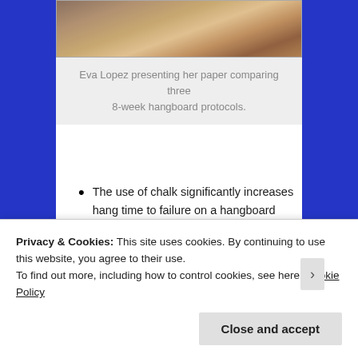[Figure (photo): Partial photo of Eva Lopez presenting at a conference or event, showing the bottom portion of the image with a person seated at a table.]
Eva Lopez presenting her paper comparing three 8-week hangboard protocols.
The use of chalk significantly increases hang time to failure on a hangboard (compared to NOT using chalk). [Reference]
Intermediate-level climbers make
Privacy & Cookies: This site uses cookies. By continuing to use this website, you agree to their use.
To find out more, including how to control cookies, see here: Cookie Policy